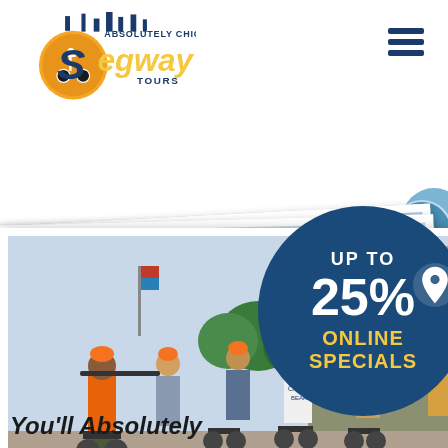[Figure (logo): Absolutely Chicago Segway Tours logo with orange and yellow segway rider graphic]
[Figure (photo): Group of tourists wearing orange helmets on Segways, guided tour near a large stone building in Chicago, sunny day]
UP TO 25% ONLINE SPECIALS
You'll Absolutely